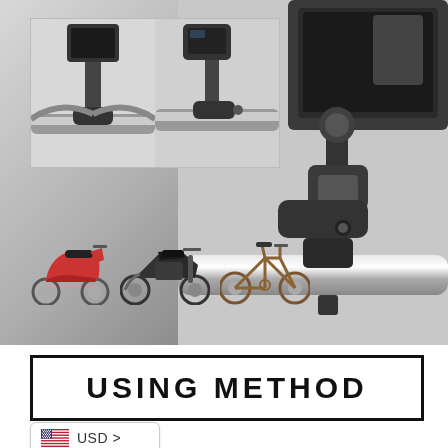[Figure (photo): Product photo showing a motorcycle/bike phone holder mount. Large right-side image shows close-up of black metal phone mount bracket attached to a handlebar with a phone case holder. Top-left inset shows two smaller photos: left inset shows phone holder on handlebars from front view, right inset shows angled view of mount with phone on handlebar. Bottom-left area shows three vehicle silhouettes: red scooter, black motorcycle, and bicycle/mountain bike.]
USING METHOD
USD >